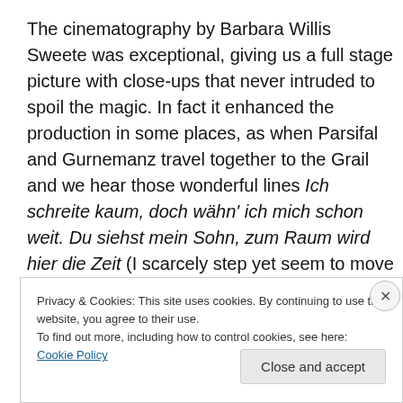The cinematography by Barbara Willis Sweete was exceptional, giving us a full stage picture with close-ups that never intruded to spoil the magic. In fact it enhanced the production in some places, as when Parsifal and Gurnemanz travel together to the Grail and we hear those wonderful lines Ich schreite kaum, doch wähn' ich mich schon weit. Du siehst mein Sohn, zum Raum wird hier die Zeit (I scarcely step yet seem to move apace. You see, my son, here time is one with space). The camera views them from below, and manages the feat of rendering
Privacy & Cookies: This site uses cookies. By continuing to use this website, you agree to their use.
To find out more, including how to control cookies, see here: Cookie Policy